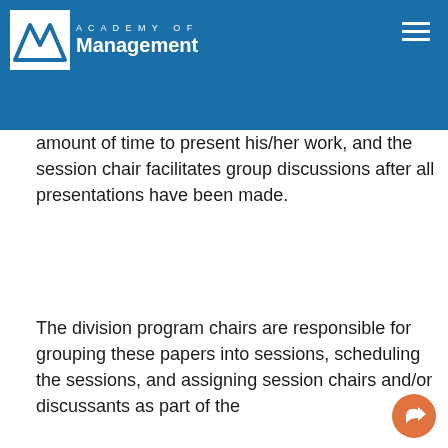Academy of Management
of fully developed research papers that draw a large audience. Each author has a set amount of time to present his/her work, and the session chair facilitates group discussions after all presentations have been made.
The division program chairs are responsible for grouping these papers into sessions, scheduling the sessions, and assigning session chairs and/or discussants as part of the Monday and Tuesday program.
This website uses cookies to ensure you get the best experience on our website.
Learn more
Got it!
These sessions are for promising papers that meet the division's submission requirements. Authors benefit from the authors receiving feedback for further development of the papers and sharing of research experiences with others who